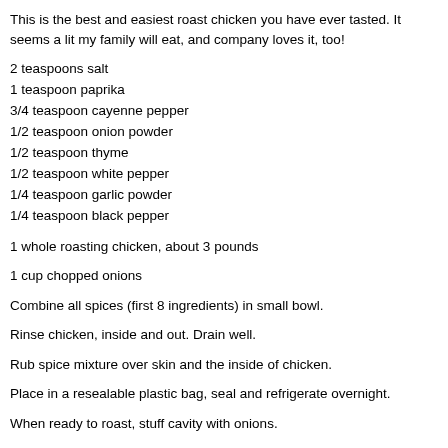This is the best and easiest roast chicken you have ever tasted. It seems a lit my family will eat, and company loves it, too!
2 teaspoons salt
1 teaspoon paprika
3/4 teaspoon cayenne pepper
1/2 teaspoon onion powder
1/2 teaspoon thyme
1/2 teaspoon white pepper
1/4 teaspoon garlic powder
1/4 teaspoon black pepper
1 whole roasting chicken, about 3 pounds
1 cup chopped onions
Combine all spices (first 8 ingredients) in small bowl.
Rinse chicken, inside and out. Drain well.
Rub spice mixture over skin and the inside of chicken.
Place in a resealable plastic bag, seal and refrigerate overnight.
When ready to roast, stuff cavity with onions.
Place chicken breast side down in roasting pan.
Roast uncovered at 250°F (that is not a typo... it really is 250°! Anything over reaches an internal temperature of at least 155°, which this does, and more) occasionally with pan juices or until pan juices start to caramelize on bottom o brown.